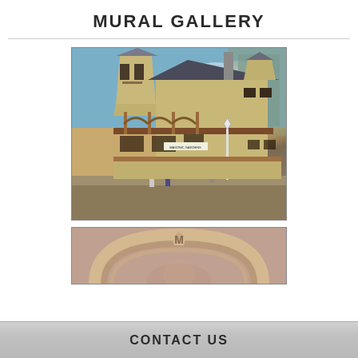MURAL GALLERY
[Figure (photo): A mural painted on a building wall depicting a historic brick train station or public building with Victorian architecture, covered porch, a sign reading 'MASONIC GARDENS', and figures of people in period clothing. The mural is photographed on the side of a real building.]
[Figure (photo): A partial view of another mural showing an arched architectural detail with the letter 'M' at the top of the arch, in muted pink/rose tones, partially cropped.]
CONTACT US